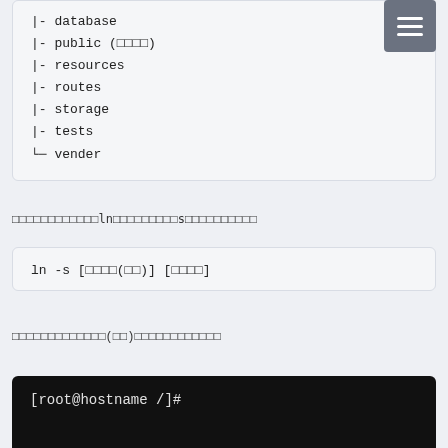|- database
|- public (□□□□)
|- resources
|- routes
|- storage
|- tests
└─ vender
□□□□□□□□□□□□ln□□□□□□□□□□s□□□□□□□□□□
□□□□□□□□□□□□□(□□)□□□□□□□□□□□□
[root@hostname /]#